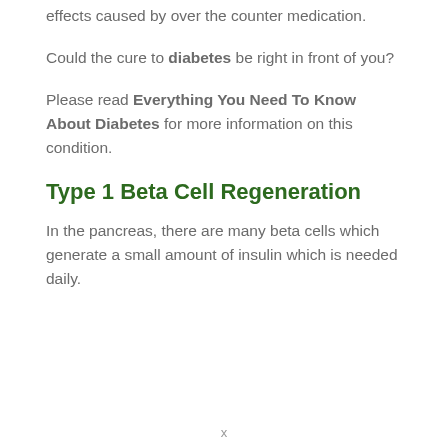effects caused by over the counter medication.
Could the cure to diabetes be right in front of you?
Please read Everything You Need To Know About Diabetes for more information on this condition.
Type 1 Beta Cell Regeneration
In the pancreas, there are many beta cells which generate a small amount of insulin which is needed daily.
x